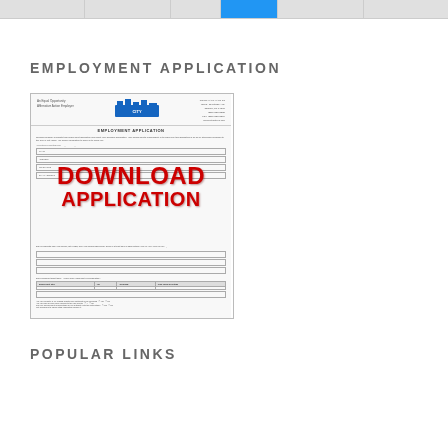navigation bar with tabs
EMPLOYMENT APPLICATION
[Figure (screenshot): Thumbnail preview of an employment application form for a city government with a red 'DOWNLOAD APPLICATION' watermark overlaid on the form document.]
POPULAR LINKS